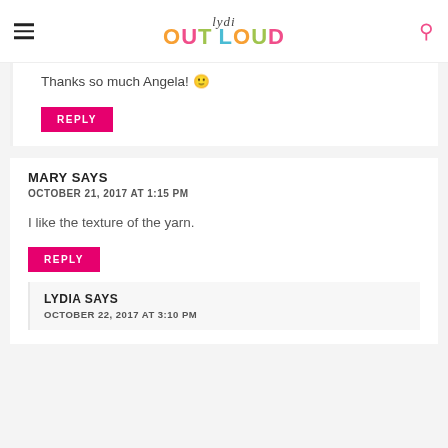lydi OUT LOUD
Thanks so much Angela! 🙂
REPLY
MARY SAYS
OCTOBER 21, 2017 AT 1:15 PM
I like the texture of the yarn.
REPLY
LYDIA SAYS
OCTOBER 22, 2017 AT 3:10 PM